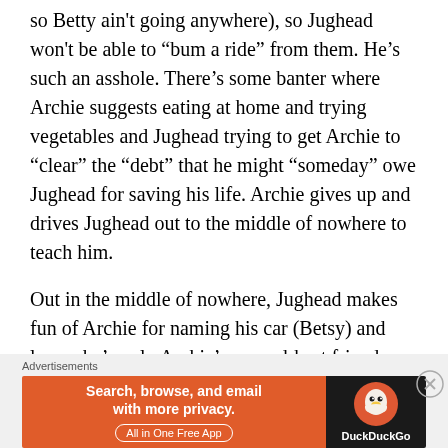so Betty ain't going anywhere), so Jughead won't be able to "bum a ride" from them. He's such an asshole. There's some banter where Archie suggests eating at home and trying vegetables and Jughead trying to get Archie to "clear" the "debt" that he might "someday" owe Jughead for saving his life. Archie gives up and drives Jughead out to the middle of nowhere to teach him.
Out in the middle of nowhere, Jughead makes fun of Archie for naming his car (Betsy) and learns he's only Archie's second-best friend
Advertisements
[Figure (other): DuckDuckGo advertisement banner: orange left panel with text 'Search, browse, and email with more privacy. All in One Free App' and dark right panel with DuckDuckGo duck logo and brand name.]